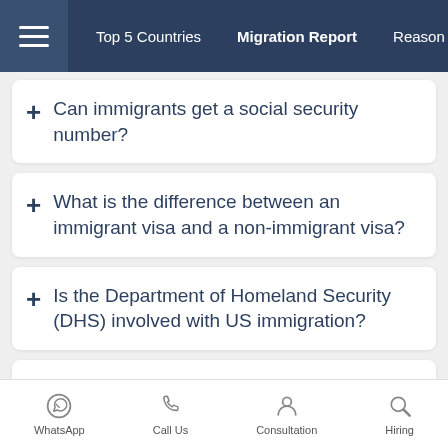Top 5 Countries   Migration Report   Reason
+ Can immigrants get a social security number?
+ What is the difference between an immigrant visa and a non-immigrant visa?
+ Is the Department of Homeland Security (DHS) involved with US immigration?
+ Why is Ellis Island so special in terms of immigration?
+ When can you get a green card in the US?
WhatsApp   Call Us   Consultation   Hiring